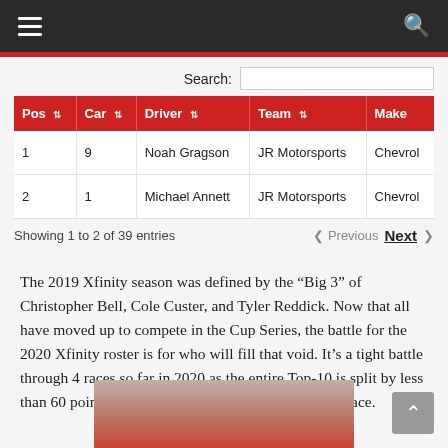Navigation bar with hamburger menu and search icon
Search:
| Pos | Car | Driver | Team | Make |
| --- | --- | --- | --- | --- |
| 1 | 9 | Noah Gragson | JR Motorsports | Chevrol |
| 2 | 1 | Michael Annett | JR Motorsports | Chevrol |
Showing 1 to 2 of 39 entries
Previous  Next
The 2019 Xfinity season was defined by the “Big 3” of Christopher Bell, Cole Custer, and Tyler Reddick. Now that all have moved up to compete in the Cup Series, the battle for the 2020 Xfinity roster is for who will fill that void. It’s a tight battle through 4 races so far in 2020 as the entire Top-10 is split by less than 60 points, the maximum point total for a single race.
[Figure (photo): Blurred photo of a racing driver in red, partially visible at bottom of page]